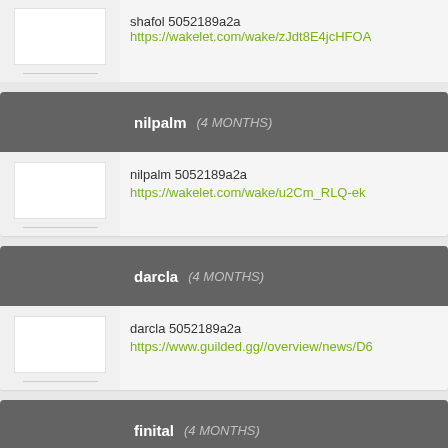shafol 5052189a2a https://wakelet.com/wake/zJdt8E4jcHFOA...
nilpalm (4 MONTHS)
nilpalm 5052189a2a https://wakelet.com/wake/u2Cm_RLQ-ek...
darcla (4 MONTHS)
darcla 5052189a2a https://www.guilded.gg//overview/news/D6...
finital (4 MONTHS)
finital 5052189a2a https://www.guilded.gg/clicicwotes-Parade/...
balipatt (4 MONTHS)